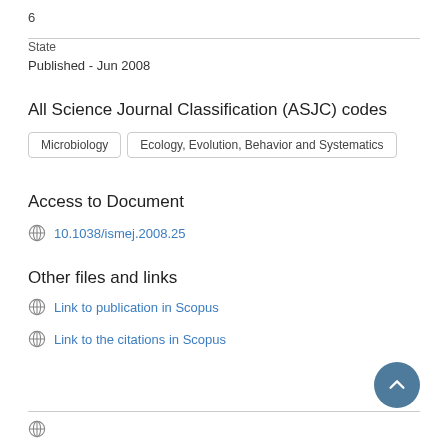6
State
Published - Jun 2008
All Science Journal Classification (ASJC) codes
Microbiology
Ecology, Evolution, Behavior and Systematics
Access to Document
10.1038/ismej.2008.25
Other files and links
Link to publication in Scopus
Link to the citations in Scopus